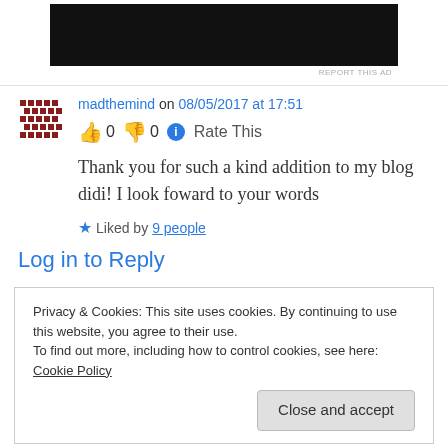[Figure (other): Black advertisement banner at top of page]
REPORT THIS AD
madthemind on 08/05/2017 at 17:51
👍 0 👎 0 ℹ Rate This
Thank you for such a kind addition to my blog didi! I look foward to your words
★ Liked by 9 people
Log in to Reply
Privacy & Cookies: This site uses cookies. By continuing to use this website, you agree to their use.
To find out more, including how to control cookies, see here: Cookie Policy
Close and accept
been nominated for the One Lovely Blogger